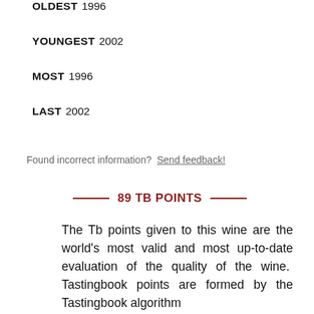OLDEST  1996
YOUNGEST  2002
MOST  1996
LAST  2002
Found incorrect information?  Send feedback!
89 TB POINTS
The Tb points given to this wine are the world's most valid and most up-to-date evaluation of the quality of the wine. Tastingbook points are formed by the Tastingbook algorithm which takes into account the wine ratings of the